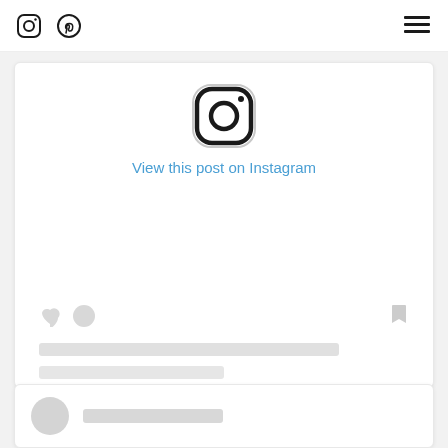Instagram icon, Pinterest icon, Menu icon
[Figure (screenshot): An embedded Instagram post placeholder with the Instagram logo, a 'View this post on Instagram' link in blue, placeholder action icons (heart, circle, bookmark), placeholder content lines, and attribution text 'A post shared by Sarah (@vintagetearose)']
View this post on Instagram
A post shared by Sarah (@vintagetearose)
[Figure (screenshot): Bottom of a second embedded Instagram post card showing a user avatar circle and a placeholder username line]